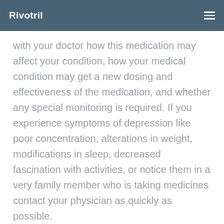Rivotril
with your doctor how this medication may affect your condition, how your medical condition may get a new dosing and effectiveness of the medication, and whether any special monitoring is required. If you experience symptoms of depression like poor concentration, alterations in weight, modifications in sleep, decreased fascination with activities, or notice them in a very family member who is taking medicines contact your physician as quickly as possible.